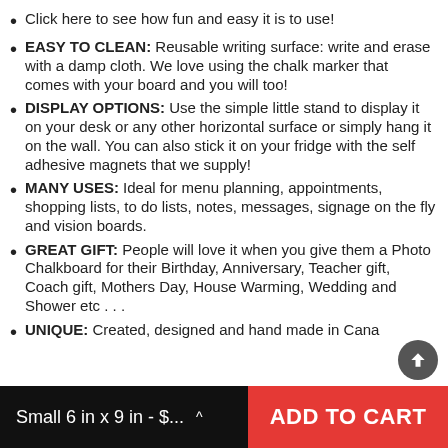Click here to see how fun and easy it is to use!
EASY TO CLEAN:  Reusable writing surface: write and erase with a damp cloth.  We love using the chalk marker that comes with your board and you will too!
DISPLAY OPTIONS:  Use the simple little stand to display it on your desk or any other horizontal surface or simply hang it on the wall.  You can also stick it on your fridge with the self adhesive magnets that we supply!
MANY USES:  Ideal for menu planning, appointments, shopping lists, to do lists, notes, messages, signage on the fly and vision boards.
GREAT GIFT:  People will love it when you give them a Photo Chalkboard for their Birthday, Anniversary, Teacher gift,  Coach gift, Mothers Day, House Warming, Wedding and Shower etc . . .
UNIQUE:  Created, designed and hand made in Canada!
Small 6 in x 9 in - $...   ADD TO CART